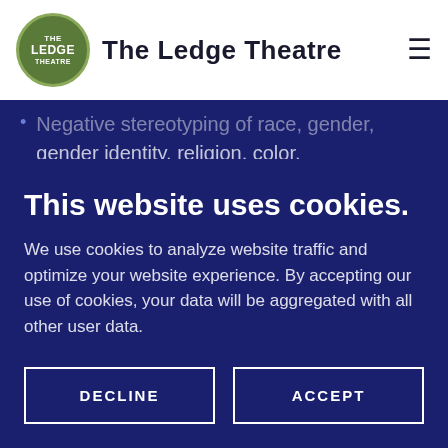The Ledge Theatre
Negative stereotyping of race, gender, gender identity, religion, color, national origin, ancestry, marital status, sexual orientation, ability, or other status protected by law outside the boundaries of consent related to
This website uses cookies.
We use cookies to analyze website traffic and optimize your website experience. By accepting our use of cookies, your data will be aggregated with all other user data.
DECLINE
ACCEPT